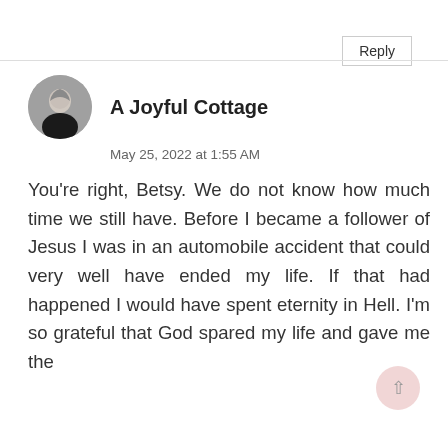Reply
[Figure (photo): Circular avatar photo of a woman with short grey hair wearing a black top]
A Joyful Cottage
May 25, 2022 at 1:55 AM
You're right, Betsy. We do not know how much time we still have. Before I became a follower of Jesus I was in an automobile accident that could very well have ended my life. If that had happened I would have spent eternity in Hell. I'm so grateful that God spared my life and gave me the